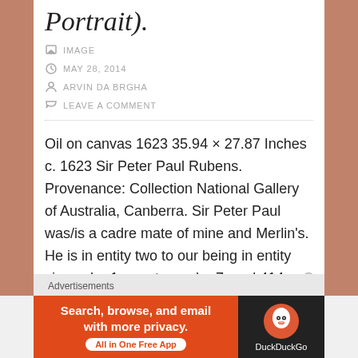Portrait).
IMAGE
MAY 28, 2014
ARVIN DA BRGHA
LEAVE A COMMENT
Oil on canvas 1623 35.94 × 27.87 Inches c. 1623 Sir Peter Paul Rubens. Provenance: Collection National Gallery of Australia, Canberra. Sir Peter Paul was/is a cadre mate of mine and Merlin's. He is in entity two to our being in entity six, cadre 1, greater cadre 7, pod 414. Prior to his departure for Italy, [...]
Advertisements
[Figure (screenshot): DuckDuckGo advertisement banner: orange left section with text 'Search, browse, and email with more privacy. All in One Free App' and dark right section with DuckDuckGo duck logo and brand name.]